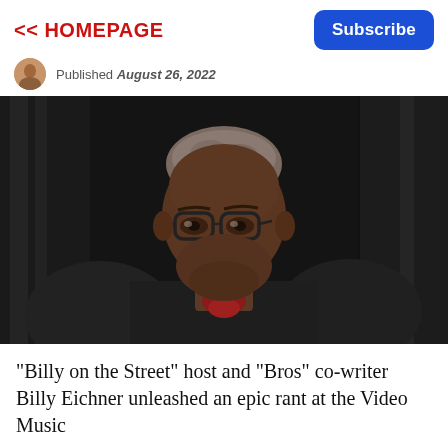<< HOMEPAGE
Subscribe
Published August 26, 2022
[Figure (photo): A man in black judicial robes seated for an official portrait, wearing glasses and a dark red tie, against a dark curtain background.]
"Billy on the Street" host and "Bros" co-writer Billy Eichner unleashed an epic rant at the Video Music